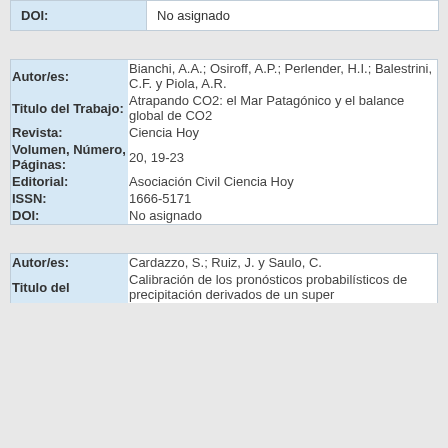| DOI: | No asignado |
| Autor/es: | Bianchi, A.A.; Osiroff, A.P.; Perlender, H.I.; Balestrini, C.F. y Piola, A.R. |
| Titulo del Trabajo: | Atrapando CO2: el Mar Patagónico y el balance global de CO2 |
| Revista: | Ciencia Hoy |
| Volumen, Número, Páginas: | 20, 19-23 |
| Editorial: | Asociación Civil Ciencia Hoy |
| ISSN: | 1666-5171 |
| DOI: | No asignado |
| Autor/es: | Cardazzo, S.; Ruiz, J. y Saulo, C. |
| Titulo del | Calibración de los pronósticos probabilísticos de precipitación derivados de un super |